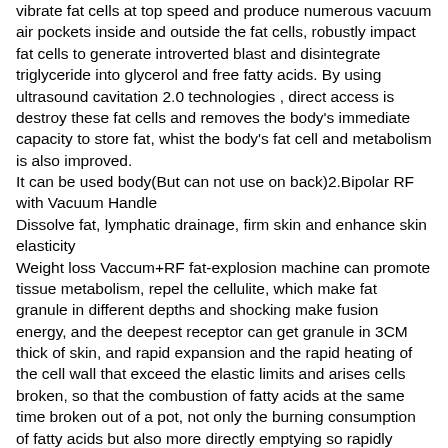vibrate fat cells at top speed and produce numerous vacuum air pockets inside and outside the fat cells, robustly impact fat cells to generate introverted blast and disintegrate triglyceride into glycerol and free fatty acids. By using ultrasound cavitation 2.0 technologies , direct access is destroy these fat cells and removes the body's immediate capacity to store fat, whist the body's fat cell and metabolism is also improved.
It can be used body(But can not use on back)2.Bipolar RF with Vacuum Handle
Dissolve fat, lymphatic drainage, firm skin and enhance skin elasticity
Weight loss Vaccum+RF fat-explosion machine can promote tissue metabolism, repel the cellulite, which make fat granule in different depths and shocking make fusion energy, and the deepest receptor can get granule in 3CM thick of skin, and rapid expansion and the rapid heating of the cell wall that exceed the elastic limits and arises cells broken, so that the combustion of fatty acids at the same time broken out of a pot, not only the burning consumption of fatty acids but also more directly emptying so rapidly reduce the size of granule. Can be done manually or any other instruments can not achieve the perfect results. At the same time, skin is more elastic and luster.It is the "healthy body sculpture management" expert
Bipolar RF handle mainly used for the body, limbs, buttocks and other parts of concentrated fat, chieve slimming firming effect.